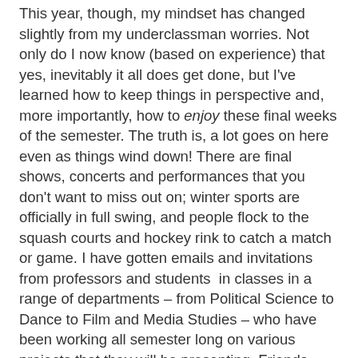This year, though, my mindset has changed slightly from my underclassman worries. Not only do I now know (based on experience) that yes, inevitably it all does get done, but I've learned how to keep things in perspective and, more importantly, how to enjoy these final weeks of the semester. The truth is, a lot goes on here even as things wind down! There are final shows, concerts and performances that you don't want to miss out on; winter sports are officially in full swing, and people flock to the squash courts and hockey rink to catch a match or game. I have gotten emails and invitations from professors and students  in classes in a range of departments – from Political Science to Dance to Film and Media Studies – who have been working all semester long on various projects that they will be presenting. Friends make announcements at the end of class inviting their peers to view their thesis work, a play they happen to have written and directed.
Thus, in the midst of all this academic work, the final push of